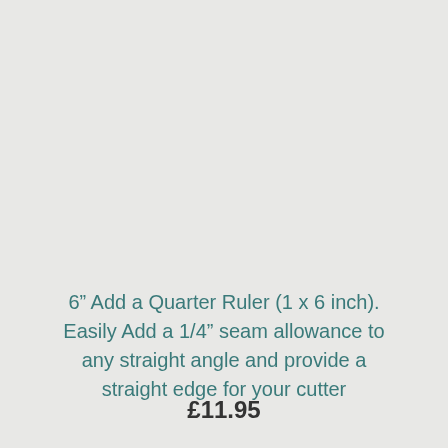6" Add a Quarter Ruler (1 x 6 inch). Easily Add a 1/4" seam allowance to any straight angle and provide a straight edge for your cutter
£11.95